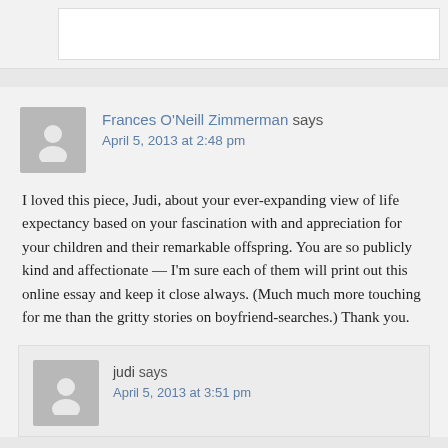[Figure (screenshot): Top portion of a previous comment (stub/partial view)]
Frances O'Neill Zimmerman says
April 5, 2013 at 2:48 pm
I loved this piece, Judi, about your ever-expanding view of life expectancy based on your fascination with and appreciation for your children and their remarkable offspring. You are so publicly kind and affectionate — I'm sure each of them will print out this online essay and keep it close always. (Much much more touching for me than the gritty stories on boyfriend-searches.) Thank you.
judi says
April 5, 2013 at 3:51 pm